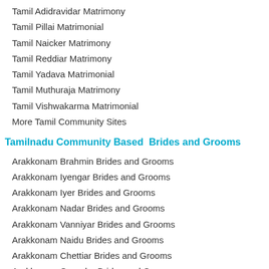Tamil Adidravidar Matrimony
Tamil Pillai Matrimonial
Tamil Naicker Matrimony
Tamil Reddiar Matrimony
Tamil Yadava Matrimonial
Tamil Muthuraja Matrimony
Tamil Vishwakarma Matrimonial
More Tamil Community Sites
Tamilnadu Community Based  Brides and Grooms
Arakkonam Brahmin Brides and Grooms
Arakkonam Iyengar Brides and Grooms
Arakkonam Iyer Brides and Grooms
Arakkonam Nadar Brides and Grooms
Arakkonam Vanniyar Brides and Grooms
Arakkonam Naidu Brides and Grooms
Arakkonam Chettiar Brides and Grooms
Arakkonam Gounder Brides and Grooms
Arakkonam Kallar Brides and Grooms
Arakkonam Maravar Brides and Grooms